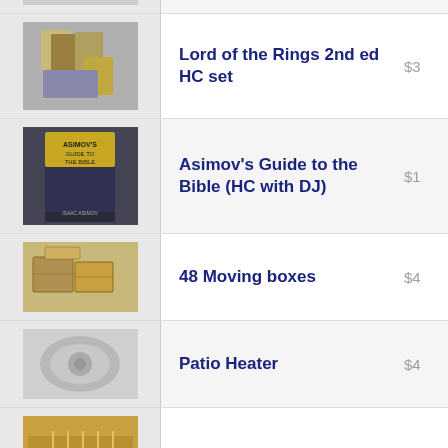Sectional Sofa
[Figure (photo): Books stacked in a box - Lord of the Rings]
Lord of the Rings 2nd ed HC set  $3
[Figure (photo): Asimov's Guide to the Bible book cover]
Asimov's Guide to the Bible (HC with DJ)  $1
[Figure (photo): Moving boxes stacked]
48 Moving boxes  $4
[Figure (photo): Patio heater]
Patio Heater  $4
[Figure (photo): Wire hangers bundled]
Wire hangers - brand new  Free
[Figure (photo): Adjustable Architect Chair]
Adjustable Architect Chair  $2